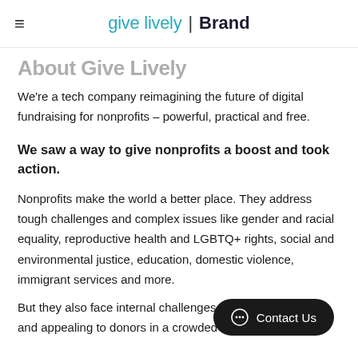give lively | Brand
About Give Lively
We're a tech company reimagining the future of digital fundraising for nonprofits – powerful, practical and free.
We saw a way to give nonprofits a boost and took action.
Nonprofits make the world a better place. They address tough challenges and complex issues like gender and racial equality, reproductive health and LGBTQ+ rights, social and environmental justice, education, domestic violence, immigrant services and more.
But they also face internal challenges. P... can be costly, and appealing to donors in a crowded digital